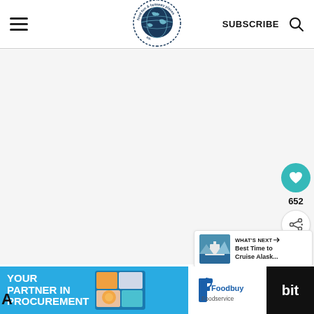food fun & faraway places — SUBSCRIBE
[Figure (screenshot): Main content area — large white/light gray blank area below header]
[Figure (infographic): Social sidebar: teal heart button, count 652, share button]
[Figure (infographic): What's Next card: thumbnail of Alaska cruise, label 'WHAT'S NEXT →', title 'Best Time to Cruise Alask...']
[Figure (infographic): Bottom advertisement bar: 'YOUR PARTNER IN PROCUREMENT' on teal background, Foodbuy Foodservice logo, dark panel with 'bit']
652
WHAT'S NEXT → Best Time to Cruise Alask...
YOUR PARTNER IN PROCUREMENT
Foodbuy Foodservice
A ... bit